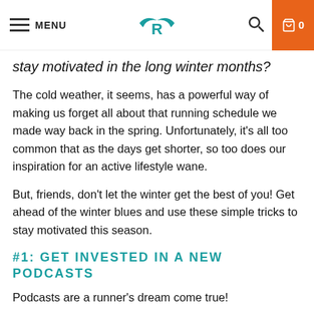MENU | [logo] | [search] | 0
stay motivated in the long winter months?
The cold weather, it seems, has a powerful way of making us forget all about that running schedule we made way back in the spring. Unfortunately, it’s all too common that as the days get shorter, so too does our inspiration for an active lifestyle wane.
But, friends, don’t let the winter get the best of you! Get ahead of the winter blues and use these simple tricks to stay motivated this season.
#1: GET INVESTED IN A NEW PODCASTS
Podcasts are a runner’s dream come true!